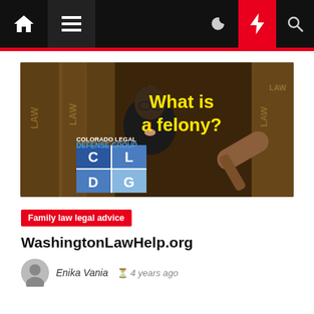Navigation bar with home, menu, moon, lightning, search icons
[Figure (screenshot): Colorado Legal Defense Group promotional image showing a man in a suit thinking, with law books in background and text 'What is a felony?' in yellow, and CLDG logo]
Family law legal advice
WashingtonLawHelp.org
Enika Vania  4 years ago